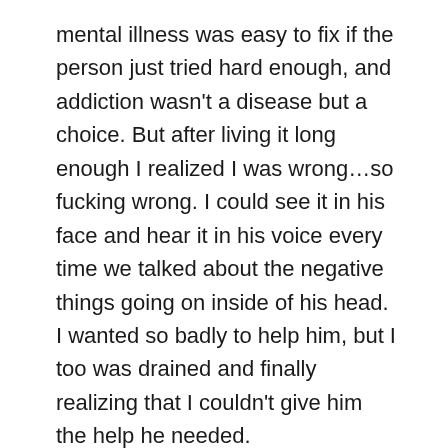mental illness was easy to fix if the person just tried hard enough, and addiction wasn't a disease but a choice. But after living it long enough I realized I was wrong…so fucking wrong. I could see it in his face and hear it in his voice every time we talked about the negative things going on inside of his head. I wanted so badly to help him, but I too was drained and finally realizing that I couldn't give him the help he needed.
Six days before Jesse completed suicide, he came home and confessed to me that he had been using drugs off and on again. He had finally admitted to himself and to me that he had a problem and he couldn't do this on his own. He